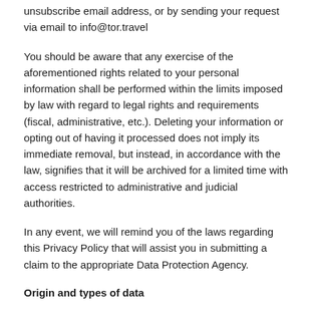unsubscribe email address, or by sending your request via email to info@tor.travel
You should be aware that any exercise of the aforementioned rights related to your personal information shall be performed within the limits imposed by law with regard to legal rights and requirements (fiscal, administrative, etc.). Deleting your information or opting out of having it processed does not imply its immediate removal, but instead, in accordance with the law, signifies that it will be archived for a limited time with access restricted to administrative and judicial authorities.
In any event, we will remind you of the laws regarding this Privacy Policy that will assist you in submitting a claim to the appropriate Data Protection Agency.
Origin and types of data
There are two ways to use our services: by previously registering with Tor Global Travel or without previously registering with Tor Global Travel.